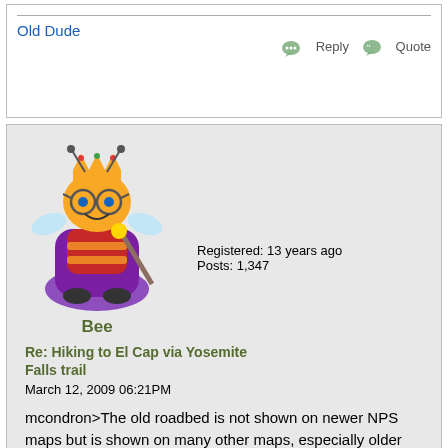Old Dude
Reply   Quote
[Figure (illustration): Cartoon avatar of a bee character dressed as a king/queen, sitting on a throne, wearing a crown]
Bee
Registered: 13 years ago
Posts: 1,347
Re: Hiking to El Cap via Yosemite Falls trail
March 12, 2009 06:21PM
mcondron>The old roadbed is not shown on newer NPS maps but is shown on many other maps, especially older ones.<

i have my dads old map book and it DOES list Old Stage Coach Road! Did you start from Yosemite Creek Campgrounds? One of my references says that this starts off 2 various alternate routes coming...